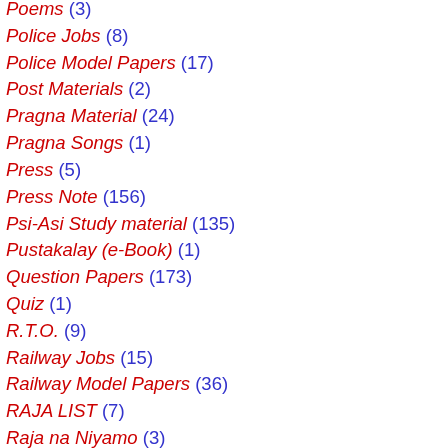Poems (3)
Police Jobs (8)
Police Model Papers (17)
Post Materials (2)
Pragna Material (24)
Pragna Songs (1)
Press (5)
Press Note (156)
Psi-Asi Study material (135)
Pustakalay (e-Book) (1)
Question Papers (173)
Quiz (1)
R.T.O. (9)
Railway Jobs (15)
Railway Model Papers (36)
RAJA LIST (7)
Raja na Niyamo (3)
Rang Purani (9)
Rangoli (1)